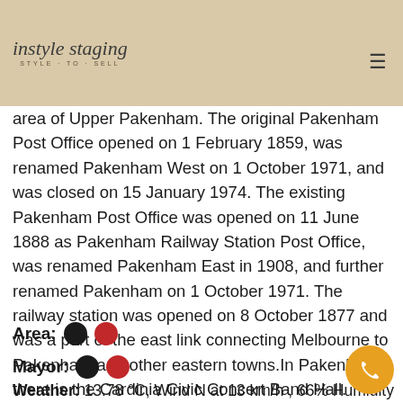instyle staging — STYLE·TO·SELL
families arrived in Sydney on the Acquis in 1837, sponsored by the Governor George Gipps to migrate and settle in Melbourne. They arrived in Melbourne on the John Barry in 1839 and selected 5 miles by 5 miles of land now known as the area of Upper Pakenham. The original Pakenham Post Office opened on 1 February 1859, was renamed Pakenham West on 1 October 1971, and was closed on 15 January 1974. The existing Pakenham Post Office was opened on 11 June 1888 as Pakenham Railway Station Post Office, was renamed Pakenham East in 1908, and further renamed Pakenham on 1 October 1971. The railway station was opened on 8 October 1877 and was a part of the east link connecting Melbourne to Pakenham and other eastern towns.In Pakenham there is the Cardinia Civic Concert Band Hall.
Area: ●●
Mayor: ●●
Weather: 13.78 °C, Wind N at 13 km/h , 66% Humidity